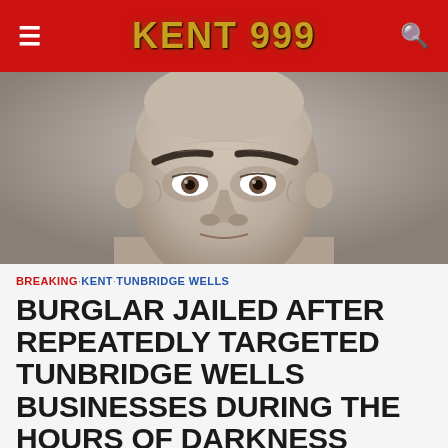≡ KENT 999 🔍
[Figure (photo): Close-up mugshot of a bald middle-aged man with prominent eyebrows staring directly at the camera, grey background]
BREAKING · KENT · TUNBRIDGE WELLS
BURGLAR JAILED AFTER REPEATEDLY TARGETED TUNBRIDGE WELLS BUSINESSES DURING THE HOURS OF DARKNESS